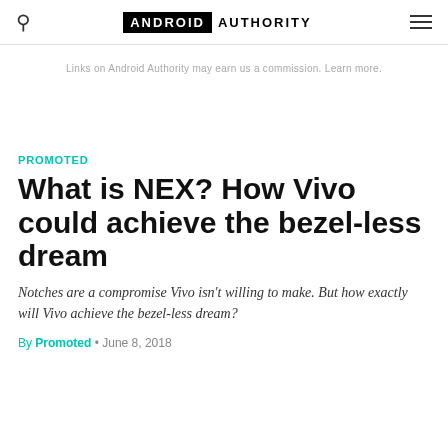ANDROID AUTHORITY
Links on Android Authority may earn us a commission. Learn more.
PROMOTED
What is NEX? How Vivo could achieve the bezel-less dream
Notches are a compromise Vivo isn't willing to make. But how exactly will Vivo achieve the bezel-less dream?
By Promoted · June 8, 2018